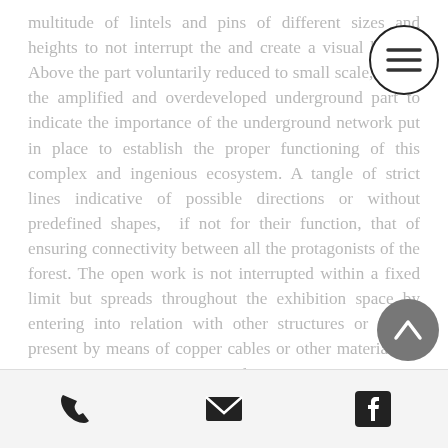multitude of lintels and pins of different sizes and heights to not interrupt the and create a visual break . Above the part voluntarily reduced to small scale, below the amplified and overdeveloped underground part to indicate the importance of the underground network put in place to establish the proper functioning of this complex and ingenious ecosystem. A tangle of strict lines indicative of possible directions or without predefined shapes,  if not for their function, that of ensuring connectivity between all the protagonists of the forest. The open work is not interrupted within a fixed limit but spreads throughout the exhibition space by entering into relation with other structures or works present by means of copper cables or other materials. It turns into an environment conducive to experimentation for the visitor who can take the right measure of WOOD WIDE WEB.
[Figure (other): Hamburger menu button (three horizontal lines) inside a circle, top-right corner]
[Figure (other): Scroll-to-top button (chevron/arrow up) inside a dark grey circle, middle-right area]
Phone icon | Email icon | Facebook icon